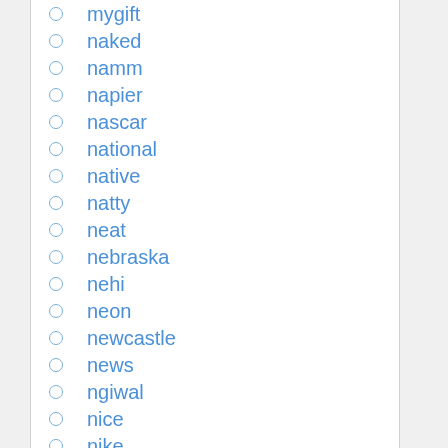mygift
naked
namm
napier
nascar
national
native
natty
neat
nebraska
nehi
neon
newcastle
news
ngiwal
nice
nike
nintendo
north
nosunsure